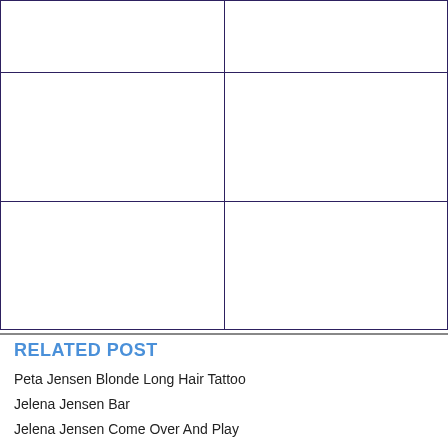[Figure (other): A 3x2 grid of image placeholder cells with dark purple/navy borders arranged in three rows and two columns. The top row cells are shorter, the middle and bottom rows are taller.]
RELATED POST
Peta Jensen Blonde Long Hair Tattoo
Jelena Jensen Bar
Jelena Jensen Come Over And Play